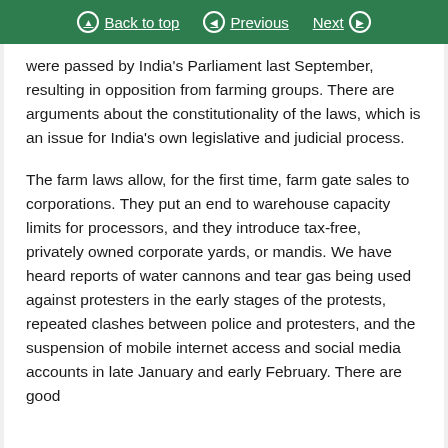Back to top  Previous  Next
were passed by India's Parliament last September, resulting in opposition from farming groups. There are arguments about the constitutionality of the laws, which is an issue for India's own legislative and judicial process.
The farm laws allow, for the first time, farm gate sales to corporations. They put an end to warehouse capacity limits for processors, and they introduce tax-free, privately owned corporate yards, or mandis. We have heard reports of water cannons and tear gas being used against protesters in the early stages of the protests, repeated clashes between police and protesters, and the suspension of mobile internet access and social media accounts in late January and early February. There are good